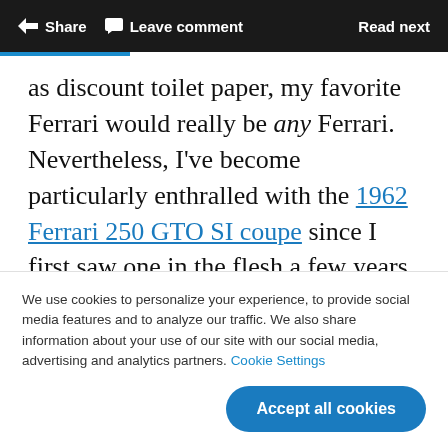Share  Leave comment  Read next
as discount toilet paper, my favorite Ferrari would really be any Ferrari. Nevertheless, I've become particularly enthralled with the 1962 Ferrari 250 GTO SI coupe since I first saw one in the flesh a few years ago. Yes, I know, with an
We use cookies to personalize your experience, to provide social media features and to analyze our traffic. We also share information about your use of our site with our social media, advertising and analytics partners. Cookie Settings
Accept all cookies